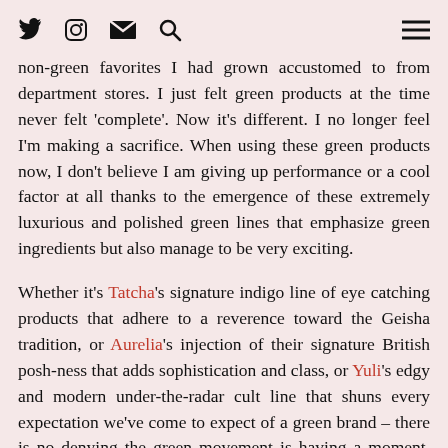Twitter Instagram Email Search [hamburger menu]
non-green favorites I had grown accustomed to from department stores. I just felt green products at the time never felt 'complete'. Now it's different. I no longer feel I'm making a sacrifice. When using these green products now, I don't believe I am giving up performance or a cool factor at all thanks to the emergence of these extremely luxurious and polished green lines that emphasize green ingredients but also manage to be very exciting.
Whether it's Tatcha's signature indigo line of eye catching products that adhere to a reverence toward the Geisha tradition, or Aurelia's injection of their signature British posh-ness that adds sophistication and class, or Yuli's edgy and modern under-the-radar cult line that shuns every expectation we've come to expect of a green brand – there is no denying the green movement is having a moment, parlaying a once niche category into a relevant forward thinking and